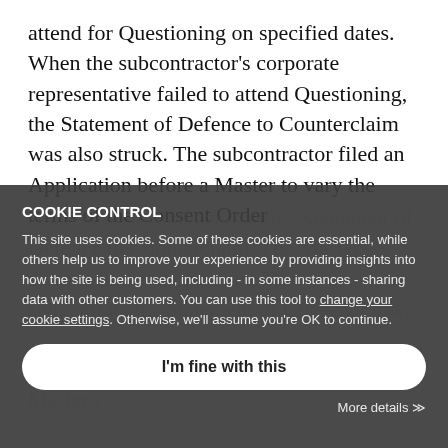attend for Questioning on specified dates. When the subcontractor's corporate representative failed to attend Questioning, the Statement of Defence to Counterclaim was also struck. The subcontractor filed an Application before a Master to vary the terms of the Consent Order
and restore the subcontractor's Statement of Defence to Counterclaim. The Master dismissed
The subcontractor then appealed the Master's
that the Consent Order was interlocutory which allowed the Court to exercise its discretion to vary or set aside the terms of the Consent Order
COOKIE CONTROL
This site uses cookies. Some of these cookies are essential, while others help us to improve your experience by providing insights into how the site is being used, including - in some instances - sharing data with other customers. You can use this tool to change your cookie settings. Otherwise, we'll assume you're OK to continue.
I'm fine with this
More details